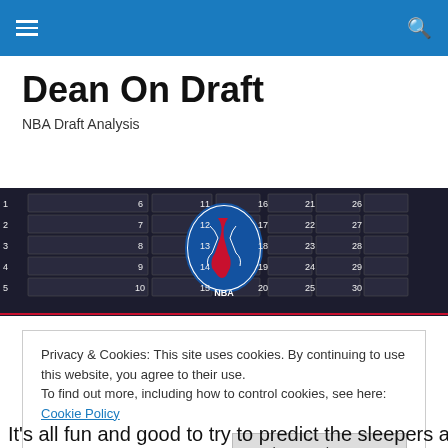Dean On Draft — navigation bar with hamburger menu and search icon
Dean On Draft
NBA Draft Analysis
[Figure (photo): NBA draft board showing pick slots numbered 1-30 with NBA logo in the center and team icons beside each pick slot on a dark background]
Privacy & Cookies: This site uses cookies. By continuing to use this website, you agree to their use.
To find out more, including how to control cookies, see here: Cookie Policy
[Close and accept button]
It's all fun and good to try to predict the sleepers and value